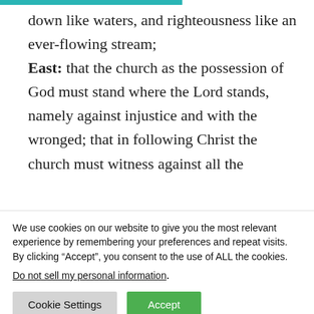down like waters, and righteousness like an ever-flowing stream; East: that the church as the possession of God must stand where the Lord stands, namely against injustice and with the wronged; that in following Christ the church must witness against all the
We use cookies on our website to give you the most relevant experience by remembering your preferences and repeat visits. By clicking “Accept”, you consent to the use of ALL the cookies.
Do not sell my personal information.